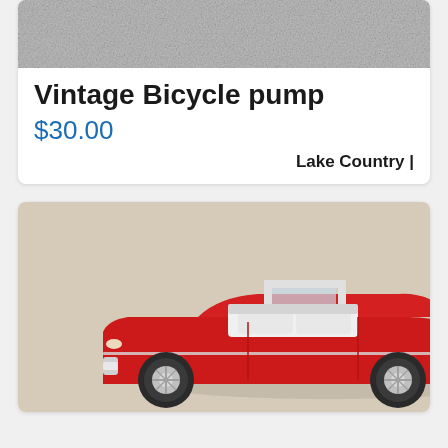[Figure (photo): Top portion of a vintage bicycle pump listing photo showing textured gray surface]
Vintage Bicycle pump
$30.00
Lake Country |
[Figure (photo): Photo of a red vintage convertible die-cast model car with white interior, viewed from above-side angle, on a beige/tan surface]